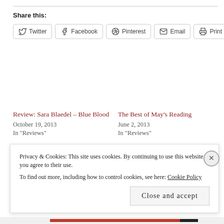Share this:
Twitter
Facebook
Pinterest
Email
Print
Review: Sara Blaedel – Blue Blood
October 19, 2013
In "Reviews"
The Best of May's Reading
June 2, 2013
In "Reviews"
Review: Redemption by Jussi Adler-Olsen
Privacy & Cookies: This site uses cookies. By continuing to use this website, you agree to their use.
To find out more, including how to control cookies, see here: Cookie Policy
Close and accept